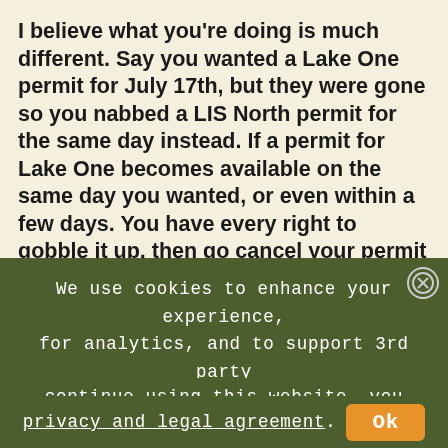I believe what you're doing is much different. Say you wanted a Lake One permit for July 17th, but they were gone so you nabbed a LIS North permit for the same day instead. If a permit for Lake One becomes available on the same day you wanted, or even within a few days. You have every right to gobble it up, then go cancel your permit for LIS. Anybody who has been on a dozen or more trips has probably done this before. In the end, you got your #1 choice and you weren't hoarding permits. I've done it, nothing unethical about that.
Tony
We use cookies to enhance your experience, for analytics, and to support 3rd party content and advertising providers. If you continue using this website, you agree to our privacy and legal agreement.
Ok